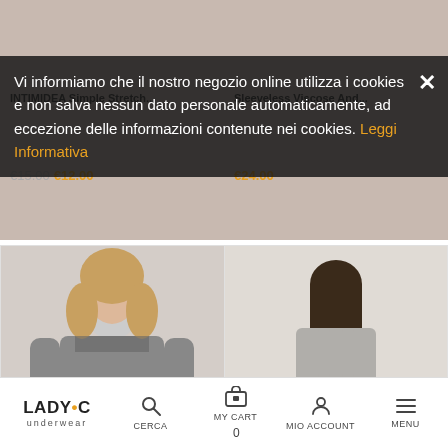INTIMIDEA Simple Stretch...
Sleeveless Viscose And...
Vi informiamo che il nostro negozio online utilizza i cookies e non salva nessun dato personale automaticamente, ad eccezione delle informazioni contenute nei cookies. Leggi Informativa
[Figure (photo): Woman wearing grey long-sleeve lace top, Maglia Ricamata In Lana...]
[Figure (photo): Woman wearing grey fitness tank top, INTIMIDEA Women's Fitness...]
Maglia Ricamata In Lana...
€25.00
INTIMIDEA Women's Fitness...
€25.00
LADY•C underwear | CERCA | MY CART 0 | MIO ACCOUNT | MENU